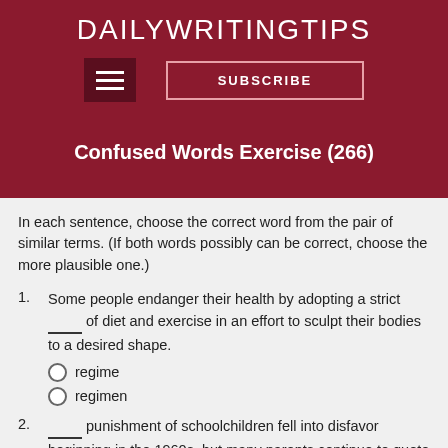DAILY WRITING TIPS
Confused Words Exercise (266)
In each sentence, choose the correct word from the pair of similar terms. (If both words possibly can be correct, choose the more plausible one.)
1. Some people endanger their health by adopting a strict ____ of diet and exercise in an effort to sculpt their bodies to a desired shape.
○ regime
○ regimen
2. ____ punishment of schoolchildren fell into disfavor beginning in the 1960s, but many parents continue to quote the proverb, "Spare the rod and spoil the child."